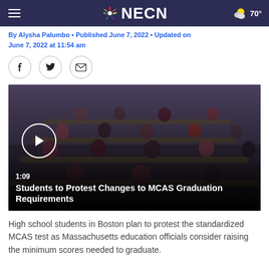NECN
By Alysha Palumbo • Published June 7, 2022 • Updated on June 7, 2022 at 11:54 am
[Figure (screenshot): Video thumbnail of students sitting in a lecture hall/classroom, with a play button overlay. Duration shown as 1:09. Title: Students to Protest Changes to MCAS Graduation Requirements]
High school students in Boston plan to protest the standardized MCAS test as Massachusetts education officials consider raising the minimum scores needed to graduate.